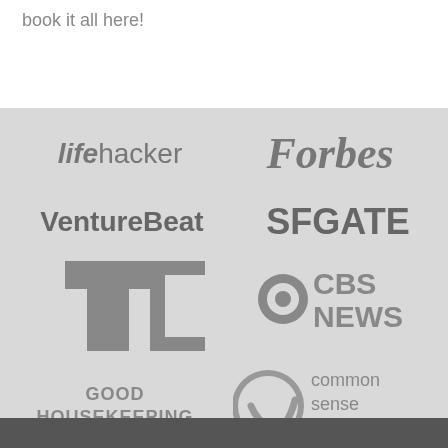book it all here!
[Figure (logo): Media outlet logos on gray background: Lifehacker, Forbes, VentureBeat, SFGATE, TechCrunch (TC), CBS News, Good Housekeeping, Common Sense Media]